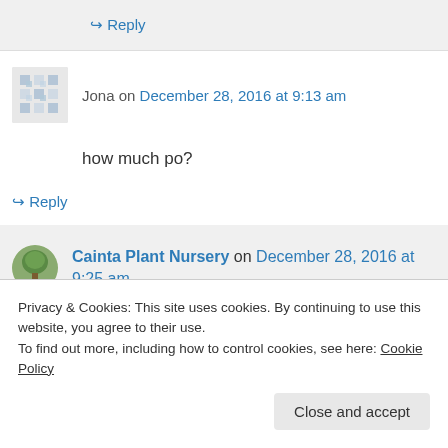↪ Reply
Jona on December 28, 2016 at 9:13 am
how much po?
↪ Reply
Cainta Plant Nursery on December 28, 2016 at 9:25 am
Privacy & Cookies: This site uses cookies. By continuing to use this website, you agree to their use.
To find out more, including how to control cookies, see here: Cookie Policy
Close and accept